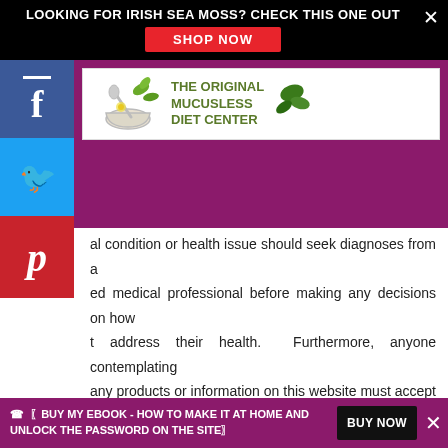LOOKING FOR IRISH SEA MOSS? CHECK THIS ONE OUT
SHOP NOW
[Figure (logo): The Original Mucusless Diet Center logo with mortar and pestle and leaves]
al condition or health issue should seek diagnoses from a ed medical professional before making any decisions on how t address their health.  Furthermore, anyone contemplating any products or information on this website must accept such s experimental and voluntary. No claims are made regarding the therapeutic use of the products or information on this website and all products featured or sold on this website must be considered nutritional supplements only. -
AMAZON AFFILIATE DISCLOSURE
☎ 〖BUY MY EBOOK - HOW TO MAKE IT AT HOME AND UNLOCK THE PASSWORD ON THE SITE〗 BUY NOW